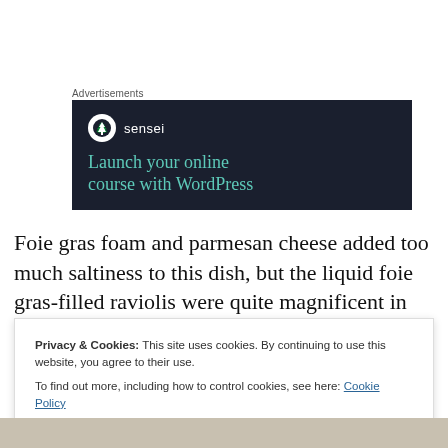Advertisements
[Figure (illustration): Advertisement banner with dark navy background. Shows 'sensei' brand logo (white circle with tree icon) and text 'Launch your online course with WordPress' in teal/green color.]
Foie gras foam and parmesan cheese added too much saltiness to this dish, but the liquid foie gras-filled raviolis were quite magnificent in concept, flavor and texture.
Privacy & Cookies: This site uses cookies. By continuing to use this website, you agree to their use.
To find out more, including how to control cookies, see here: Cookie Policy
[Figure (photo): Bottom strip showing a partial photograph, appears to be a food or landscape image in muted tones.]